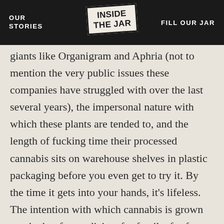OUR STORIES | INSIDE THE JAR | FILL OUR JAR
giants like Organigram and Aphria (not to mention the very public issues these companies have struggled with over the last several years), the impersonal nature with which these plants are tended to, and the length of fucking time their processed cannabis sits on warehouse shelves in plastic packaging before you even get to try it. By the time it gets into your hands, it's lifeless. The intention with which cannabis is grown—whether for medicine, for family, for fun, or, as we're seeing, for shareholders—informs both its price, and the way the end user experiences it.